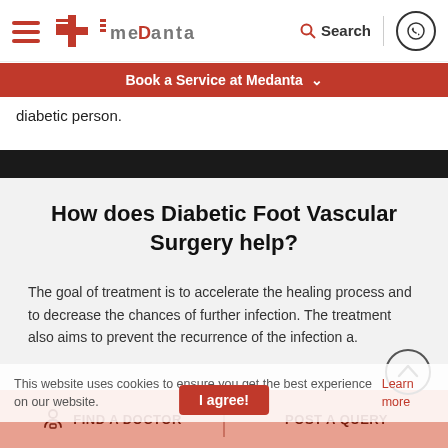Medanta — Book a Service at Medanta
diabetic person.
How does Diabetic Foot Vascular Surgery help?
The goal of treatment is to accelerate the healing process and to decrease the chances of further infection. The treatment also aims to prevent the recurrence of the infection a.
This website uses cookies to ensure you get the best experience on our website. Learn more
I agree!
FIND A DOCTOR   POST A QUERY